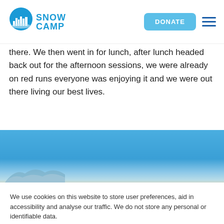[Figure (logo): Snow Camp charity logo with blue circular icon and 'SNOW CAMP' text in blue]
DONATE
there. We then went in for lunch, after lunch headed back out for the afternoon sessions, we were already on red runs everyone was enjoying it and we were out there living our best lives.
[Figure (photo): Blue sky with snow-capped mountain ridge at bottom]
We use cookies on this website to store user preferences, aid in accessibility and analyse our traffic. We do not store any personal or identifiable data.
Cookie Settings
Accept All